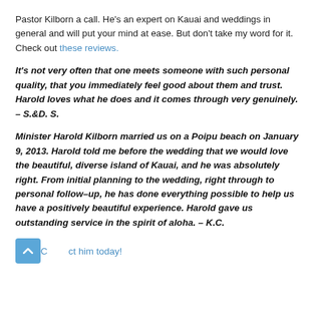Pastor Kilborn a call. He's an expert on Kauai and weddings in general and will put your mind at ease. But don't take my word for it. Check out these reviews.
It's not very often that one meets someone with such personal quality, that you immediately feel good about them and trust. Harold loves what he does and it comes through very genuinely. – S.&D. S.
Minister Harold Kilborn married us on a Poipu beach on January 9, 2013. Harold told me before the wedding that we would love the beautiful, diverse island of Kauai, and he was absolutely right. From initial planning to the wedding, right through to personal follow-up, he has done everything possible to help us have a positively beautiful experience. Harold gave us outstanding service in the spirit of aloha. – K.C.
Contact him today!